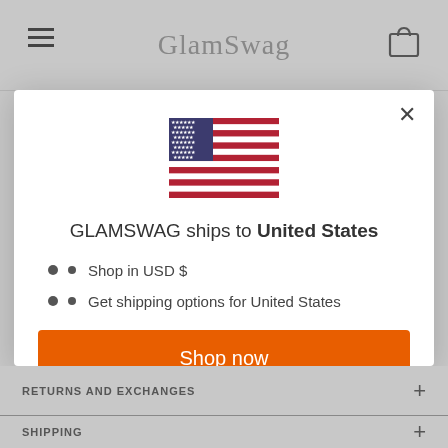GlamSwag
[Figure (illustration): US flag icon centered in modal]
GLAMSWAG ships to United States
Shop in USD $
Get shipping options for United States
Shop now
Change shipping country
RETURNS AND EXCHANGES
SHIPPING